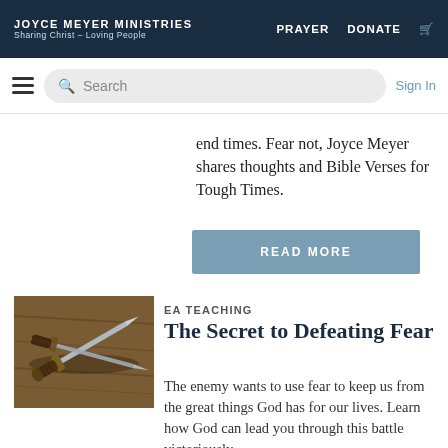Joyce Meyer Ministries — Sharing Christ – Loving People | PRAYER  DONATE
end times. Fear not, Joyce Meyer shares thoughts and Bible Verses for Tough Times.
READ MORE
[Figure (photo): A sword lying on a wooden table, photographed from above at an angle.]
EA TEACHING
The Secret to Defeating Fear
The enemy wants to use fear to keep us from the great things God has for our lives. Learn how God can lead you through this battle victoriously.